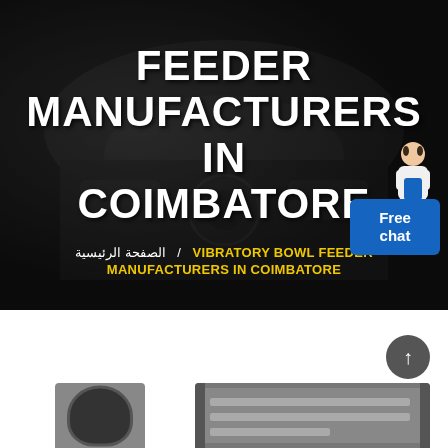FEEDER MANUFACTURERS IN COIMBATORE
الصفحة الرئيسية  /  VIBRATORY BOWL FEEDER MANUFACTURERS IN COIMBATORE
[Figure (screenshot): Dark banner background showing industrial/automotive workshop machinery in dark tones]
[Figure (photo): Free chat button with customer service avatar (woman in business attire)]
[Figure (photo): Product thumbnail: vibratory bowl feeder, dark circular shape]
[Figure (photo): Product thumbnail: larger industrial feeder equipment shown from the side]